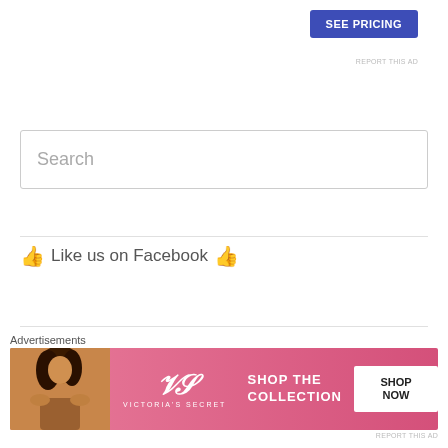[Figure (screenshot): Blue 'SEE PRICING' button in top-right area of page, part of an advertisement]
REPORT THIS AD
[Figure (screenshot): Search input box with placeholder text 'Search']
👍 Like us on Facebook 👍
📱 Follow us on Twitter 📱
Advertisements
[Figure (screenshot): Victoria's Secret banner advertisement with model, VS logo, 'SHOP THE COLLECTION' text, and 'SHOP NOW' button on pink background]